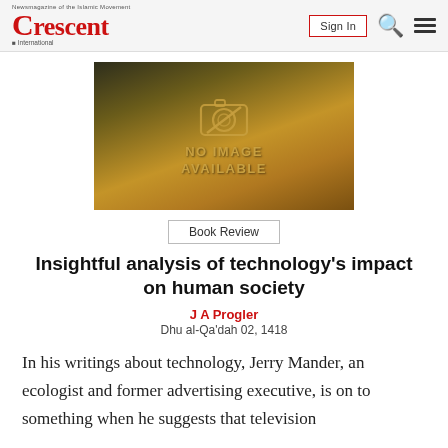Crescent International — Sign In [search] [menu]
[Figure (illustration): No Image Available placeholder with golden-brown gradient background and camera icon with a slash through it]
Book Review
Insightful analysis of technology's impact on human society
J A Progler
Dhu al-Qa'dah 02, 1418
In his writings about technology, Jerry Mander, an ecologist and former advertising executive, is on to something when he suggests that television